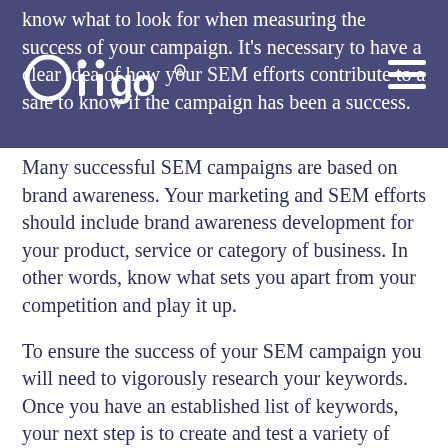know what to look for when measuring the success of your campaign. It's necessary to have a clear idea of how your SEM efforts contribute to a sale to know if the campaign has been a success.
Many successful SEM campaigns are based on brand awareness. Your marketing and SEM efforts should include brand awareness development for your product, service or category of business. In other words, know what sets you apart from your competition and play it up.
To ensure the success of your SEM campaign you will need to vigorously research your keywords. Once you have an established list of keywords, your next step is to create and test a variety of landing pages and ad content associated with those keywords. You will also need to successfully administer bid management tools to meet your predetermined spending limits. Using a robust tracking tool will help you to measure the success of your campaign. Your